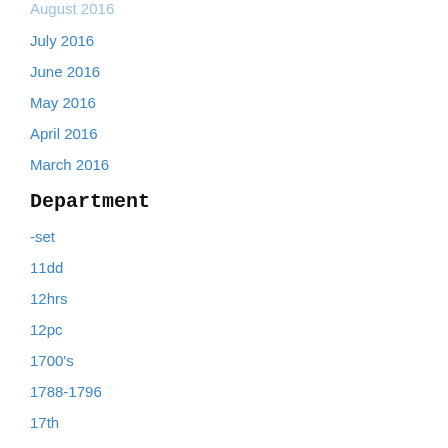August 2016
July 2016
June 2016
May 2016
April 2016
March 2016
Department
-set
11dd
12hrs
12pc
1700's
1788-1796
17th
1800's
1819th
1830s